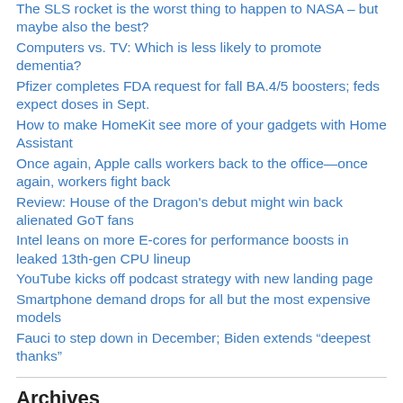The SLS rocket is the worst thing to happen to NASA – but maybe also the best?
Computers vs. TV: Which is less likely to promote dementia?
Pfizer completes FDA request for fall BA.4/5 boosters; feds expect doses in Sept.
How to make HomeKit see more of your gadgets with Home Assistant
Once again, Apple calls workers back to the office—once again, workers fight back
Review: House of the Dragon's debut might win back alienated GoT fans
Intel leans on more E-cores for performance boosts in leaked 13th-gen CPU lineup
YouTube kicks off podcast strategy with new landing page
Smartphone demand drops for all but the most expensive models
Fauci to step down in December; Biden extends “deepest thanks”
Archives
February 2017
October 2016